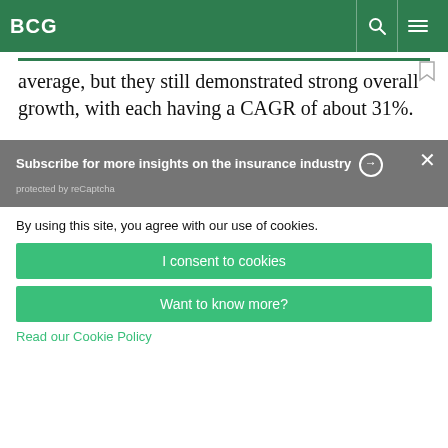BCG
average, but they still demonstrated strong overall growth, with each having a CAGR of about 31%.
Subscribe for more insights on the insurance industry
protected by reCaptcha
By using this site, you agree with our use of cookies.
I consent to cookies
Want to know more?
Read our Cookie Policy